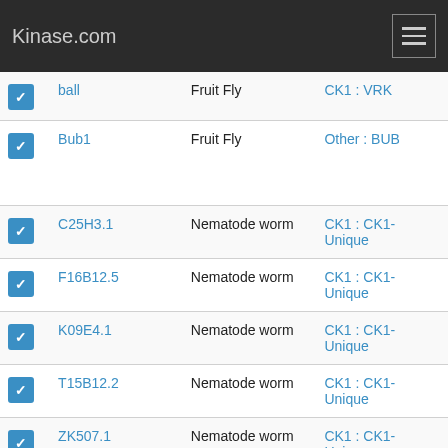Kinase.com
|  | Name | Organism | Group : Family | Aliases |
| --- | --- | --- | --- | --- |
| ✓ | ball | Fruit Fly | CK1 : VRK | VRK, b... |
| ✓ | Bub1 | Fruit Fly | Other : BUB | Bub1, dBUB1, l(2)k03, CG783... |
| ✓ | C25H3.1 | Nematode worm | CK1 : CK1-Unique | C25H3... aSWK... |
| ✓ | F16B12.5 | Nematode worm | CK1 : CK1-Unique | F16B1... |
| ✓ | K09E4.1 | Nematode worm | CK1 : CK1-Unique | aSWK... |
| ✓ | T15B12.2 | Nematode worm | CK1 : CK1-Unique | CE014... |
| ✓ | ZK507.1 | Nematode worm | CK1 : CK1-Unique | aSWK... |
| ✓ | ZK507.3 | Nematode worm | CK1 : CK1- | aSWK... |